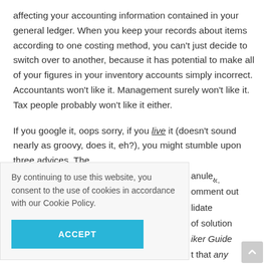affecting your accounting information contained in your general ledger. When you keep your records about items according to one costing method, you can't just decide to switch over to another, because it has potential to make all of your figures in your inventory accounts simply incorrect. Accountants won't like it. Management surely won't like it. Tax people probably won't like it either.
If you google it, oops sorry, if you live it (doesn't sound nearly as groovy, does it, eh?), you might stumble upon three advices. The
«.
By continuing to use this website, you consent to the use of cookies in accordance with our Cookie Policy.
anule,
omment out
lidate
of solution
iker Guide
t that any